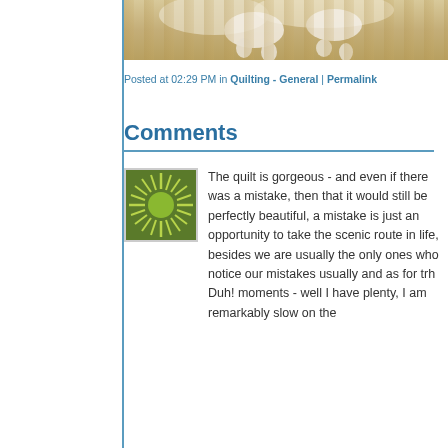[Figure (photo): Close-up photo of an animal (likely a dog) paw on sandy/light surface, top portion cropped]
Posted at 02:29 PM in Quilting - General | Permalink
Comments
[Figure (illustration): Square avatar image with green sunburst/starburst pattern on dark green background with a lighter green circle in center]
The quilt is gorgeous - and even if there was a mistake, then that it would still be perfectly beautiful, a mistake is just an opportunity to take the scenic route in life, besides we are usually the only ones who notice our mistakes usually and as for trh Duh! moments - well I have plenty, I am remarkably slow on the